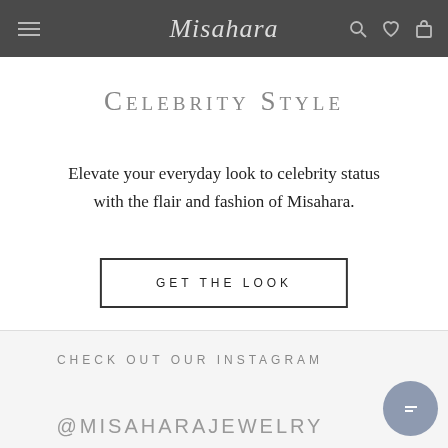Misahara
Celebrity Style
Elevate your everyday look to celebrity status with the flair and fashion of Misahara.
GET THE LOOK
CHECK OUT OUR INSTAGRAM
@MISAHARAJEWELRY